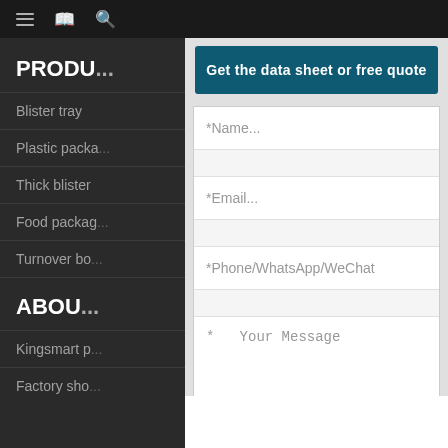[Figure (screenshot): Top navigation bar with hamburger menu, book icon, and search icon on dark background]
PRODUCTS
Blister tray
Plastic packaging
Thick blister
Food packaging
Turnover box
ABOUT
Kingsmart p...
Factory show
Get the data sheet or free quote
*Name...
*Email...
*Phone/WhatsApp/WeChat
* Your Message
Send